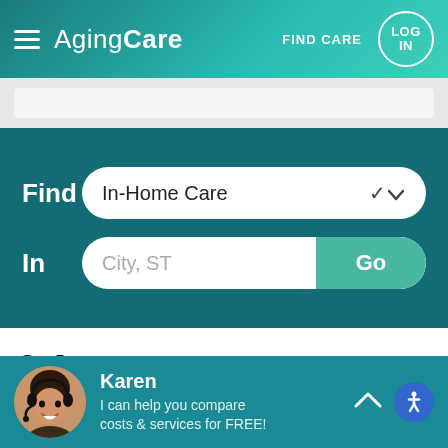AgingCare — FIND CARE — LOG IN
[Figure (screenshot): Search bar strip (gray background)]
[Figure (infographic): Teal search section with Find dropdown (In-Home Care) and In location field with Go button]
6 Answers
[Figure (infographic): Tab row with Most, Newest (active), Oldest tabs]
[Figure (infographic): Karen chat assistant bar at bottom: Karen - I can help you compare costs & services for FREE!]